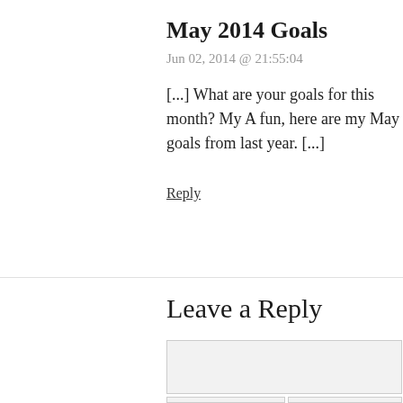May 2014 Goals
Jun 02, 2014 @ 21:55:04
[...] What are your goals for this month? My A fun, here are my May goals from last year. [...]
Reply
Leave a Reply